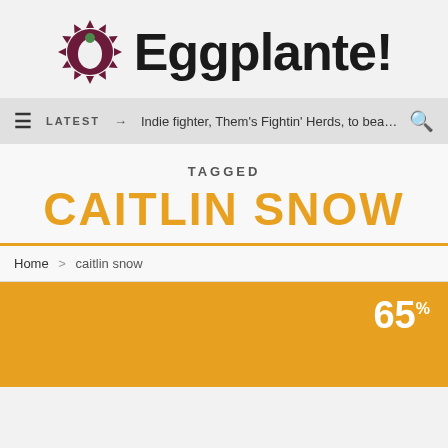[Figure (logo): Eggplante! website logo with decorative dark purple sunflower-like icon and bold black text 'Eggplante!']
LATEST → Indie fighter, Them's Fightin' Herds, to beat …
TAGGED
CAITLIN SNOW
Home > caitlin snow
[Figure (other): Orange/yellow card with score 65% in white text in top right corner]